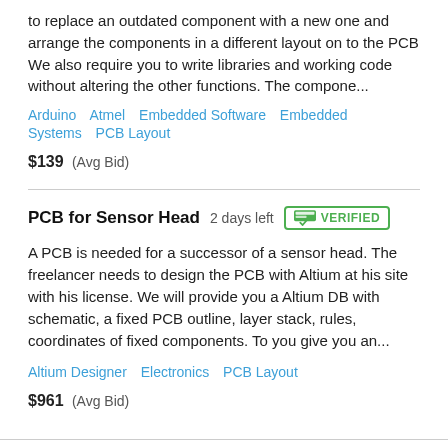to replace an outdated component with a new one and arrange the components in a different layout on to the PCB We also require you to write libraries and working code without altering the other functions. The compone...
Arduino   Atmel   Embedded Software   Embedded Systems   PCB Layout
$139  (Avg Bid)
PCB for Sensor Head  2 days left  VERIFIED
A PCB is needed for a successor of a sensor head. The freelancer needs to design the PCB with Altium at his site with his license. We will provide you a Altium DB with schematic, a fixed PCB outline, layer stack, rules, coordinates of fixed components. To you give you an...
Altium Designer   Electronics   PCB Layout
$961  (Avg Bid)